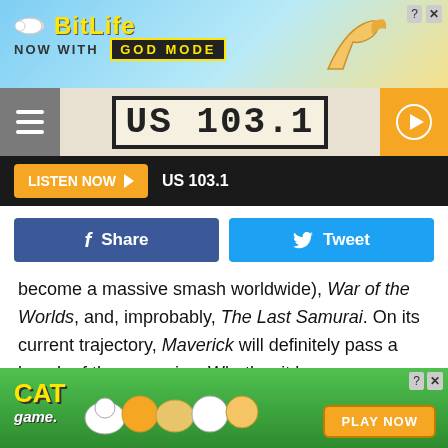[Figure (screenshot): BitLife ad banner with 'NOW WITH GOD MODE' text on blue/yellow background]
[Figure (logo): US 103.1 radio station header with hamburger menu, station logo, and orange play button]
LISTEN NOW  US 103.1
Share  Tweet (social buttons)
become a massive smash worldwide), War of the Worlds, and, improbably, The Last Samurai. On its current trajectory, Maverick will definitely pass a bunch of those movies. Whether it becomes Cruise's biggest hit worldwide seems a bit more unlikely. (It would need to pass $787.1 million worldwide and it currently sits at $416.6 million.)
[Figure (screenshot): Cat Game advertisement banner with colorful cartoon cats and 'PLAY NOW' button]